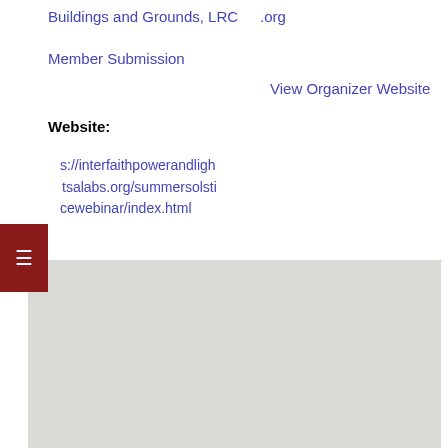Buildings and Grounds, LRC
.org
Member Submission
View Organizer Website
Website:
https://interfaithpowerandlightsalabs.org/summersolsticewebinar/index.html
[Figure (map): Gray map placeholder area]